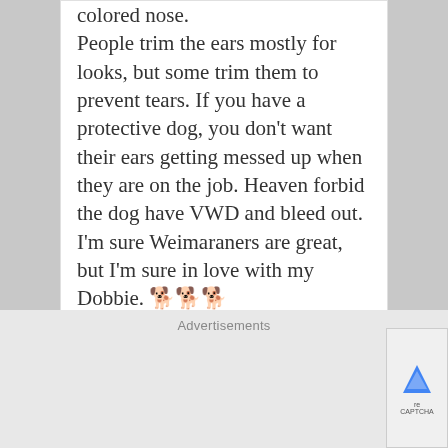colored nose.
People trim the ears mostly for looks, but some trim them to prevent tears. If you have a protective dog, you don't want their ears getting messed up when they are on the job. Heaven forbid the dog have VWD and bleed out.
I'm sure Weimaraners are great, but I'm sure in love with my Dobbie. 🐕🐕🐕
↩REPLY
Advertisements
[Figure (screenshot): Video player showing 'No compatible source was found for this media.' message over a blurred background image]
[Figure (photo): Banner advertisement: Just $2 can protect 1 acre of irreplaceable forest homes in the Amazon. How many acres are you willing to protect? PROTECT FORESTS NOW]